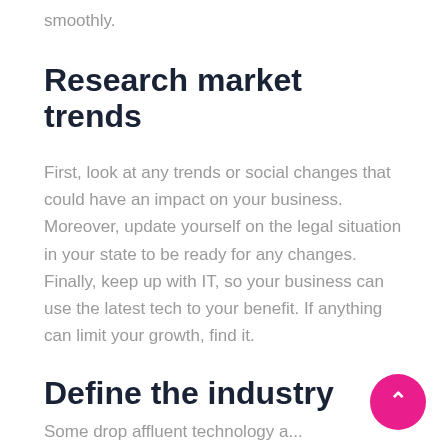smoothly.
Research market trends
First, look at any trends or social changes that could have an impact on your business. Moreover, update yourself on the legal situation in your state to be ready for any changes. Finally, keep up with IT, so your business can use the latest tech to your benefit. If anything can limit your growth, find it.
Define the industry
Somedropaffluenttechnology ...